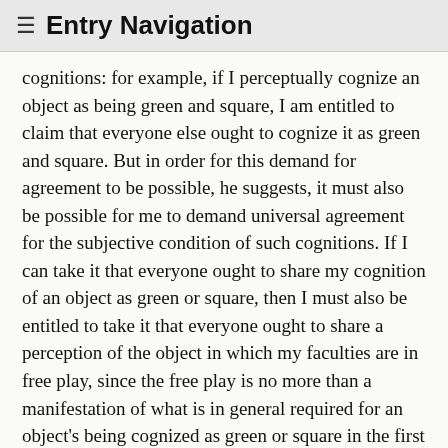≡  Entry Navigation
cognitions: for example, if I perceptually cognize an object as being green and square, I am entitled to claim that everyone else ought to cognize it as green and square. But in order for this demand for agreement to be possible, he suggests, it must also be possible for me to demand universal agreement for the subjective condition of such cognitions. If I can take it that everyone ought to share my cognition of an object as green or square, then I must also be entitled to take it that everyone ought to share a perception of the object in which my faculties are in free play, since the free play is no more than a manifestation of what is in general required for an object's being cognized as green or square in the first place.
The most serious objection to the argument can be put in the form of a dilemma; see for example Guyer (1979, p. 297), Meerbote (1982, pp. 81ff.) , Allison (2001, pp. 184–192), Rind (2002). Either the free play of the faculties is involved in all cognitive perceptual experience, or it is not. If it is, then it would seem, counterintuitively, that